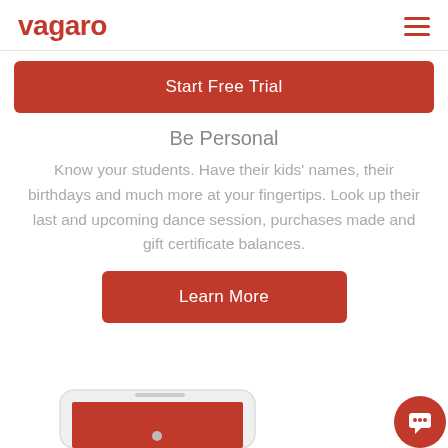vagaro
Start Free Trial
Be Personal
Know your students. Have their kids' names, their birthdays and much more at your fingertips. Look up their last and upcoming dance session, purchases made and gift certificate balances.
Learn More
[Figure (photo): Partial view of a white smartphone at the bottom of the page, with a red chat/support button in the bottom right corner.]